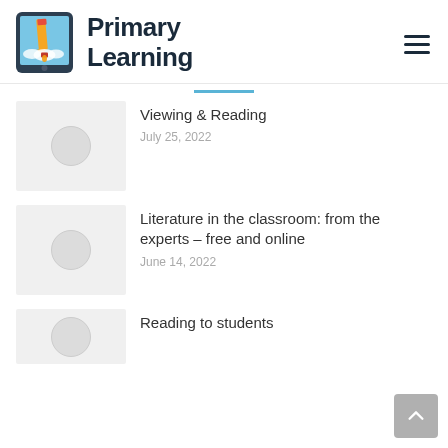[Figure (logo): Primary Learning logo with a tablet/pencil icon on the left and bold text 'Primary Learning' on the right]
Viewing & Reading
July 25, 2022
Literature in the classroom: from the experts – free and online
June 14, 2022
Reading to students